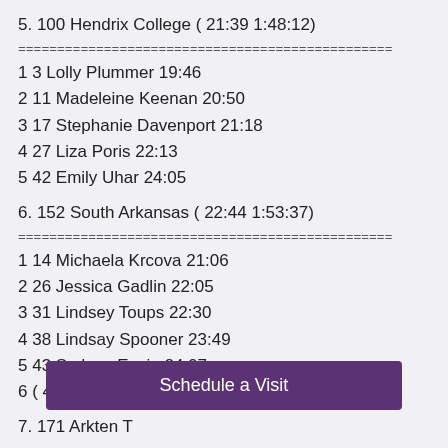5. 100 Hendrix College ( 21:39 1:48:12)
1 3 Lolly Plummer 19:46
2 11 Madeleine Keenan 20:50
3 17 Stephanie Davenport 21:18
4 27 Liza Poris 22:13
5 42 Emily Uhar 24:05
6. 152 South Arkansas ( 22:44 1:53:37)
1 14 Michaela Krcova 21:06
2 26 Jessica Gadlin 22:05
3 31 Lindsey Toups 22:30
4 38 Lindsay Spooner 23:49
5 43 Sydney Erwin 24:07
6 ( 47) Sara Banman 24:31
7. 171 Arkten T...
[Figure (other): Schedule a Visit button overlay]